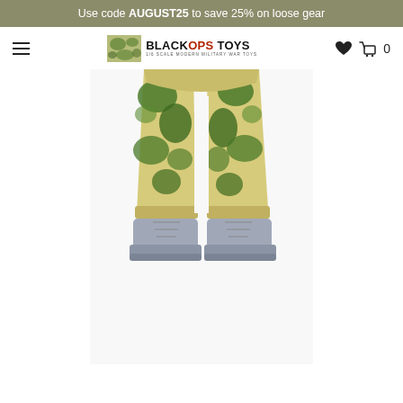Use code AUGUST25 to save 25% on loose gear
[Figure (logo): Black Ops Toys logo with camouflage graphic and text '1/6 SCALE MODERN MILITARY WAR TOYS']
[Figure (photo): 1/6 scale military action figure lower body wearing camouflage trousers with green and tan duck hunter pattern, and grey military boots, shown from waist down against white background]